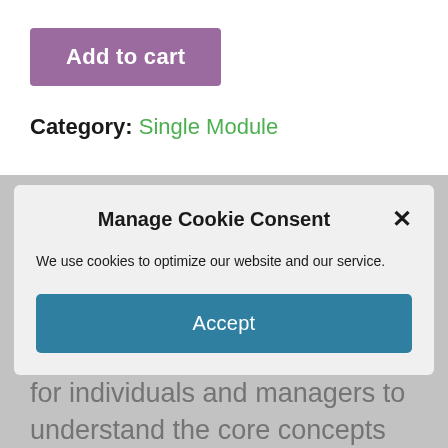Add to cart
Category: Single Module
Manage Cookie Consent
We use cookies to optimize our website and our service.
Accept
This is an introductory course for SPECtrum™ and is designed for individuals and managers to understand the core concepts